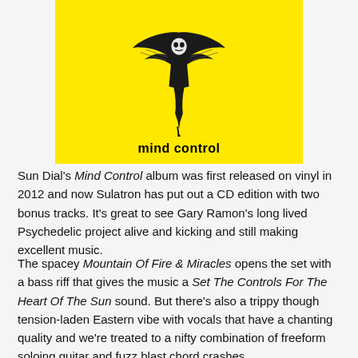[Figure (illustration): Album cover for Sun Dial's Mind Control — yellow background with a black and white illustration of a figure/creature at the top, and bold text 'mind control' at the bottom]
Sun Dial's Mind Control album was first released on vinyl in 2012 and now Sulatron has put out a CD edition with two bonus tracks. It's great to see Gary Ramon's long lived Psychedelic project alive and kicking and still making excellent music.
The spacey Mountain Of Fire & Miracles opens the set with a bass riff that gives the music a Set The Controls For The Heart Of The Sun sound. But there's also a trippy though tension-laden Eastern vibe with vocals that have a chanting quality and we're treated to a nifty combination of freeform soloing guitar and fuzz blast chord crashes,